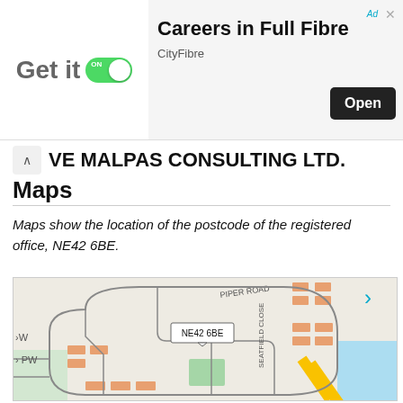[Figure (screenshot): Advertisement banner: 'Get it' toggle app ad for 'Careers in Full Fibre' by CityFibre with an Open button]
VE MALPAS CONSULTING LTD. Maps
Maps show the location of the postcode of the registered office, NE42 6BE.
[Figure (map): Street map showing postcode NE42 6BE with roads including Piper Road and Seatfield Close marked, with a location pin labeled NE42 6BE]